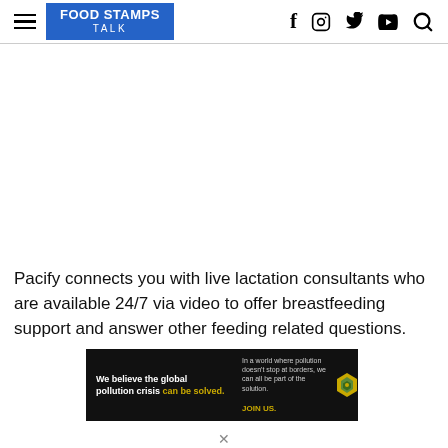FOOD STAMPS TALK
Pacify connects you with live lactation consultants who are available 24/7 via video to offer breastfeeding support and answer other feeding related questions.
[Figure (infographic): Pure Earth advertisement banner: 'We believe the global pollution crisis can be solved. In a world where pollution doesn't stop at borders, we can all be part of the solution. JOIN US.' with Pure Earth logo.]